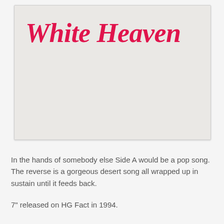[Figure (illustration): Album cover for White Heaven — mostly blank off-white/beige background with the title 'White Heaven' in large red italic serif font at the top left area.]
In the hands of somebody else Side A would be a pop song. The reverse is a gorgeous desert song all wrapped up in sustain until it feeds back.
7" released on HG Fact in 1994.